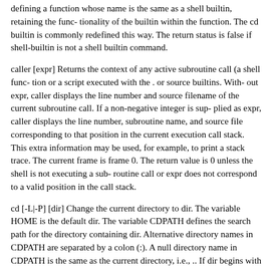defining a function whose name is the same as a shell builtin, retaining the func- tionality of the builtin within the function. The cd builtin is commonly redefined this way. The return status is false if shell-builtin is not a shell builtin command.
caller [expr] Returns the context of any active subroutine call (a shell func- tion or a script executed with the . or source builtins. With- out expr, caller displays the line number and source filename of the current subroutine call. If a non-negative integer is sup- plied as expr, caller displays the line number, subroutine name, and source file corresponding to that position in the current execution call stack. This extra information may be used, for example, to print a stack trace. The current frame is frame 0. The return value is 0 unless the shell is not executing a sub- routine call or expr does not correspond to a valid position in the call stack.
cd [-L|-P] [dir] Change the current directory to dir. The variable HOME is the default dir. The variable CDPATH defines the search path for the directory containing dir. Alternative directory names in CDPATH are separated by a colon (:). A null directory name in CDPATH is the same as the current directory, i.e., .. If dir begins with a slash (/), then CDPATH is not used. The -P option says to use the physical directory structure instead of following symbolic links (see also the -P option to the set builtin command); the -L option forces symbolic links to be fol- lowed. An argument of - is